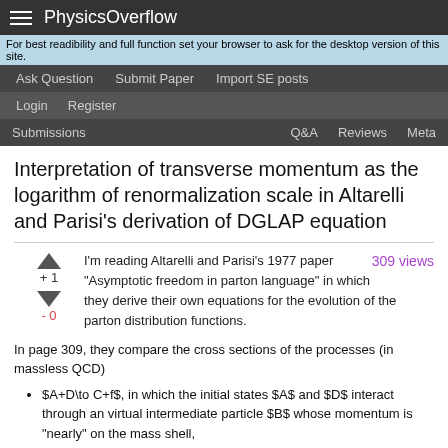PhysicsOverflow
For best readibility and full function set your browser to ask for the desktop version of this site.
Ask Question  Submit Paper  Import SE posts
Login  Register
Submissions  Q&A  Reviews  Meta
Interpretation of transverse momentum as the logarithm of renormalization scale in Altarelli and Parisi's derivation of DGLAP equation
I'm reading Altarelli and Parisi's 1977 paper "Asymptotic freedom in parton language" in which they derive their own equations for the evolution of the parton distribution functions.   309 views
In page 309, they compare the cross sections of the processes (in massless QCD)
$A+D\to C+f$, in which the initial states $A$ and $D$ interact through an virtual intermediate particle $B$ whose momentum is "nearly" on the mass shell,
$B+D\to f$, treating $B$ as an initial state on its own.
The state $D$ as well as the final state $f$ are not specified; it is assumed that the process takes place with $A$ splitting in two almost-collinear particles $B$ and $C$, such that their transverse momentum $p_\perp$ with